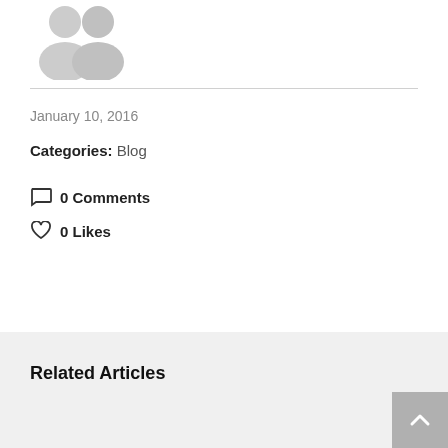[Figure (illustration): Two overlapping user avatar silhouette icons in gray]
January 10, 2016
Categories: Blog
0 Comments
0 Likes
Related Articles